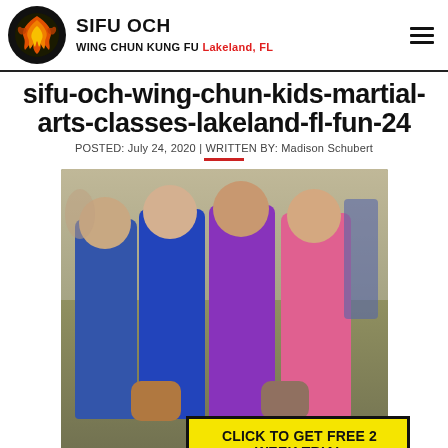SIFU OCH WING CHUN KUNG FU Lakeland, FL
sifu-och-wing-chun-kids-martial-arts-classes-lakeland-fl-fun-24
POSTED: July 24, 2020 | WRITTEN BY: Madison Schubert
[Figure (photo): Group of young girls smiling and holding small animals at what appears to be a petting zoo or outdoor event]
CLICK TO GET FREE 2 WEEK TRIAL